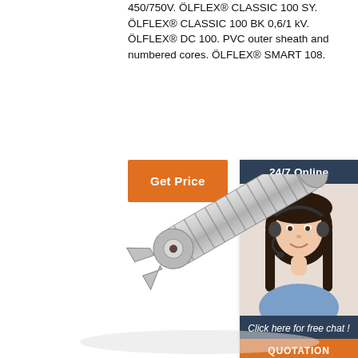450/750V. ÖLFLEX® CLASSIC 100 SY. ÖLFLEX® CLASSIC 100 BK 0,6/1 kV. ÖLFLEX® DC 100. PVC outer sheath and numbered cores. ÖLFLEX® SMART 108.
[Figure (other): Orange 'Get Price' button]
[Figure (other): 24/7 Online chat widget with photo of woman wearing headset, 'Click here for free chat!' text and orange QUOTATION button]
[Figure (photo): Metallic industrial cable connector/gland component with coiled spring and bayonet fitting, silver colored]